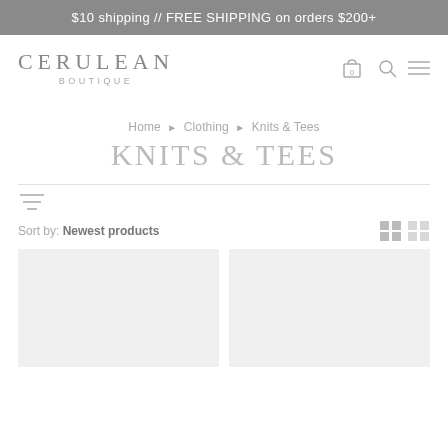$10 shipping // FREE SHIPPING on orders $200+
[Figure (logo): Cerulean Boutique logo with cart icon showing 0 items, search icon, and hamburger menu icon]
Home › Clothing › Knits & Tees
KNITS & TEES
Sort by: Newest products
[Figure (photo): Two empty product card placeholders with light gray background]